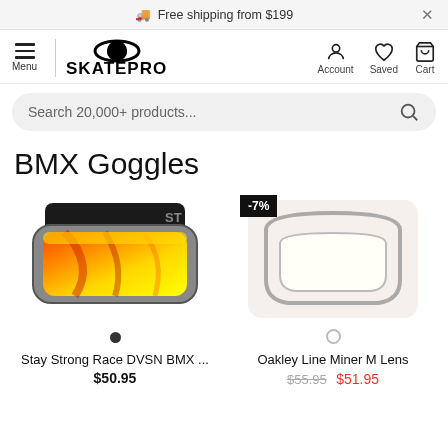🚚 Free shipping from $199
[Figure (logo): SkatePro logo with navigation icons for Menu, Account, Saved, Cart]
Search 20,000+ products...
BMX Goggles
[Figure (photo): Stay Strong Race DVSN BMX goggles with yellow/red iridium lens]
Stay Strong Race DVSN BMX ...
$50.95
[Figure (photo): Oakley Line Miner M Lens replacement goggle lens, white/clear with -7% discount badge]
Oakley Line Miner M Lens
$55.95 $51.95